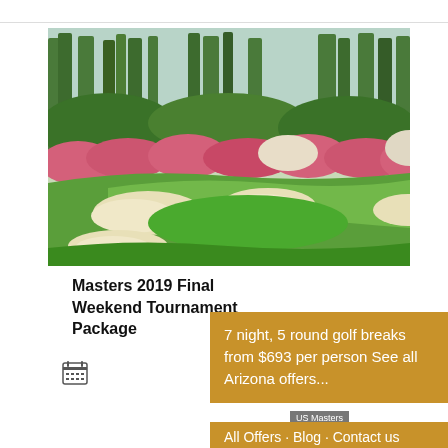[Figure (photo): Golf course with manicured green fairway, white sand bunkers, and colorful pink flowering shrubs/azaleas, tall pine trees in background. Augusta National style golf course.]
Masters 2019 Final Weekend Tournament Package
[Figure (other): Calendar icon]
7 night, 5 round golf breaks from $693 per person See all Arizona offers...
US Masters
All Offers · Blog · Contact us